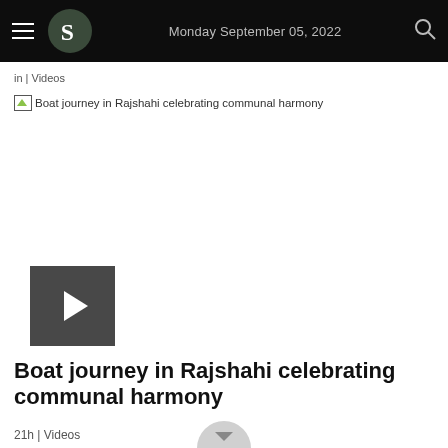Monday September 05, 2022
in | Videos
[Figure (screenshot): Broken image placeholder with alt text: Boat journey in Rajshahi celebrating communal harmony]
[Figure (screenshot): Video play button thumbnail - dark grey square with white play triangle]
Boat journey in Rajshahi celebrating communal harmony
21h | Videos